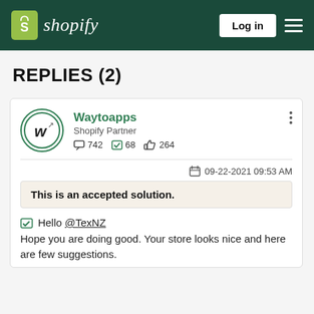Shopify — Log in
REPLIES (2)
Waytoapps
Shopify Partner
742  68  264
09-22-2021 09:53 AM
This is an accepted solution.
Hello @TexNZ
Hope you are doing good. Your store looks nice and here are few suggestions.